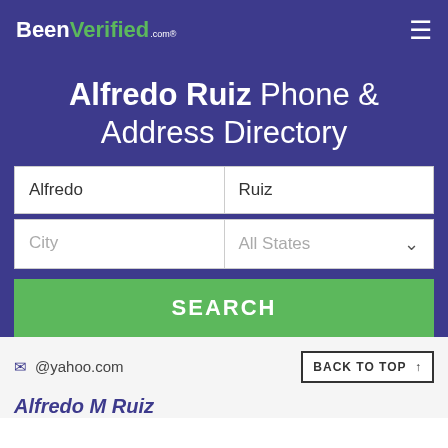BeenVerified.com
Alfredo Ruiz Phone & Address Directory
Alfredo | Ruiz
City | All States
SEARCH
@yahoo.com
BACK TO TOP ↑
Alfredo M Ruiz